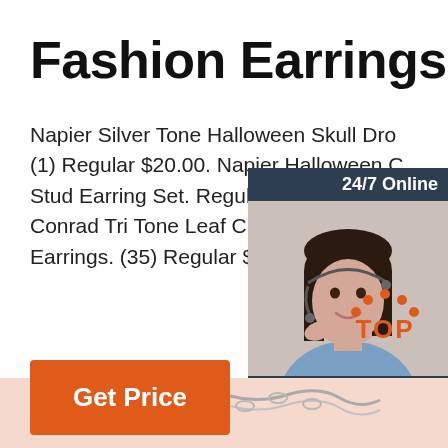Fashion Earrings
Napier Silver Tone Halloween Skull Dro... (1) Regular $20.00. Napier Halloween C... Stud Earring Set. Regular $14.00. LC L... Conrad Tri Tone Leaf Cluster Nickel Fre... Earrings. (35) Regular $14.00.
[Figure (photo): Customer service representative with headset, 24/7 Online chat widget with 'Click here for free chat!' and QUOTATION button]
[Figure (other): TOP icon with orange dots arranged as an arch above the word TOP in orange]
[Figure (photo): Bottom strip showing peach/pink background with a silver chain/necklace]